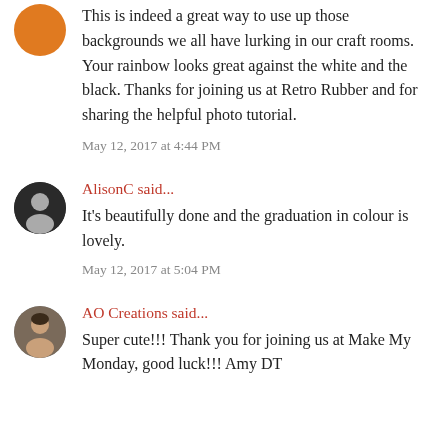This is indeed a great way to use up those backgrounds we all have lurking in our craft rooms. Your rainbow looks great against the white and the black. Thanks for joining us at Retro Rubber and for sharing the helpful photo tutorial.
May 12, 2017 at 4:44 PM
AlisonC said...
It's beautifully done and the graduation in colour is lovely.
May 12, 2017 at 5:04 PM
AO Creations said...
Super cute!!! Thank you for joining us at Make My Monday, good luck!!! Amy DT